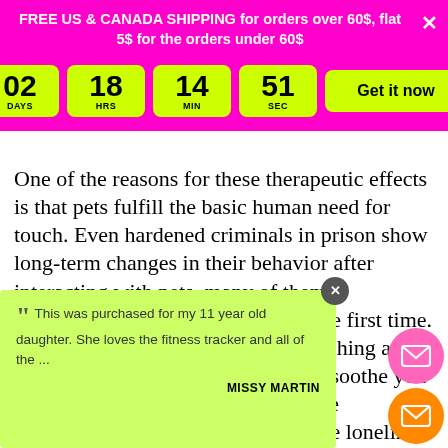FREE US & CANADA SHIPPING for orders over 60$, flat 5$ for the orders under 60$
[Figure (infographic): Countdown timer showing 02 DAYS, 18 HRS, 14 MIN, 51 SEC with a 'Get it now' button on a pink background]
One of the reasons for these therapeutic effects is that pets fulfill the basic human need for touch. Even hardened criminals in prison show long-term changes in their behavior after interacting with pets, many of them experiencing mutual affection for the first time. Stroking, hugging, or otherwise touching a loving animal can rapidly calm and soothe you when you're stressed or anxious. The companionship of a pet can also ease loneliness and ... for healthy ex... your mood and ease depression
This was purchased for my 11 year old daughter. She loves the fitness tracker and all of the ...
MISSY MARTIN